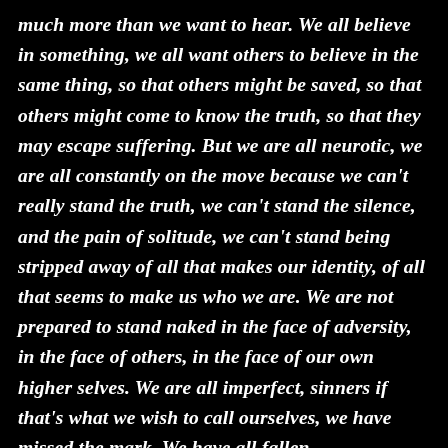much more than we want to hear. We all believe in something, we all want others to believe in the same thing, so that others might be saved, so that others might come to know the truth, so that they may escape suffering. But we are all neurotic, we are all constantly on the move because we can't really stand the truth, we can't stand the silence, and the pain of solitude, we can't stand being stripped away of all that makes our identity, of all that seems to make us who we are. We are not prepared to stand naked in the face of adversity, in the face of others, in the face of our own higher selves. We are all imperfect, sinners if that's what we wish to call ourselves, we have missed the mark. We have all fallen